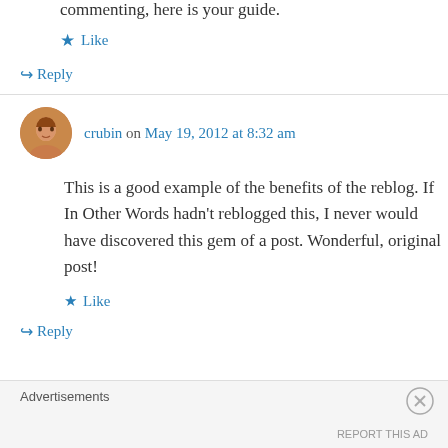commenting, here is your guide.
★ Like
↪ Reply
crubin on May 19, 2012 at 8:32 am
This is a good example of the benefits of the reblog. If In Other Words hadn't reblogged this, I never would have discovered this gem of a post. Wonderful, original post!
★ Like
↪ Reply
Advertisements